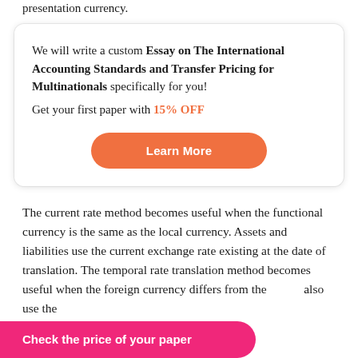presentation currency.
We will write a custom Essay on The International Accounting Standards and Transfer Pricing for Multinationals specifically for you!
Get your first paper with 15% OFF
Learn More
The current rate method becomes useful when the functional currency is the same as the local currency. Assets and liabilities use the current exchange rate existing at the date of translation. The temporal rate translation method becomes useful when the foreign currency differs from the … also use the … nslation method
Check the price of your paper